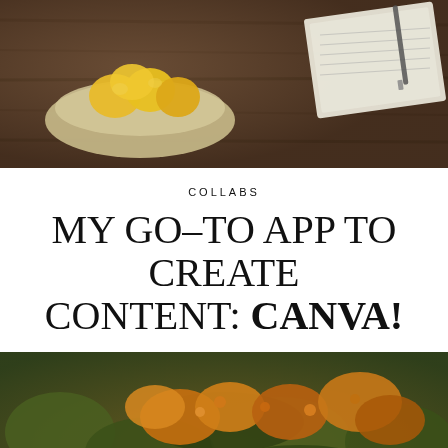[Figure (photo): Photo of a wooden table with a bowl of lemons/oranges and an open notebook with a pen, dark wood surface]
COLLABS
MY GO–TO APP TO CREATE CONTENT: CANVA!
[Figure (photo): Photo of orange and green flowering/leafy bushes or plants outdoors]
Our site uses cookies. Learn more about our use of cookies: Cookie Policy
ACCEPT